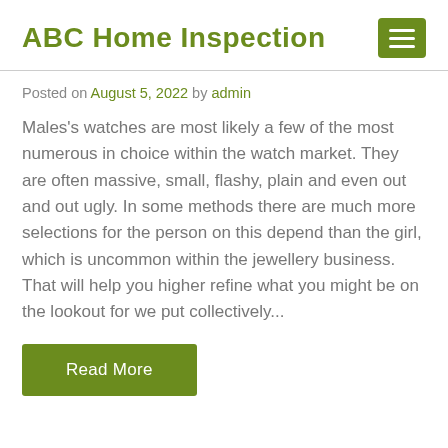ABC Home Inspection
Posted on August 5, 2022 by admin
Males's watches are most likely a few of the most numerous in choice within the watch market. They are often massive, small, flashy, plain and even out and out ugly. In some methods there are much more selections for the person on this depend than the girl, which is uncommon within the jewellery business. That will help you higher refine what you might be on the lookout for we put collectively...
Read More